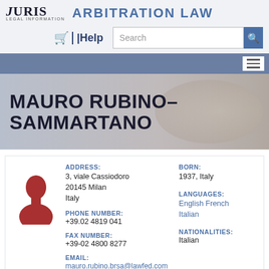JURIS LEGAL INFORMATION | ARBITRATION LAW
MAURO RUBINO-SAMMARTANO
| Field | Value |
| --- | --- |
| ADDRESS | 3, viale Cassiodoro
20145 Milan
Italy |
| BORN | 1937, Italy |
| PHONE NUMBER | +39.02 4819 041 |
| LANGUAGES | English French Italian |
| FAX NUMBER | +39-02 4800 8277 |
| NATIONALITIES | Italian |
| EMAIL | mauro.rubino.brsa@lawfed.com |